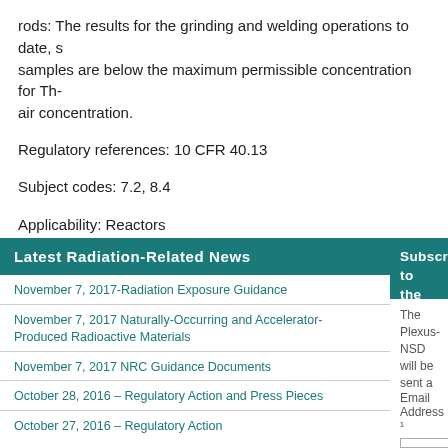rods: The results for the grinding and welding operations to date, samples are below the maximum permissible concentration for Th- air concentration.
Regulatory references: 10 CFR 40.13
Subject codes: 7.2, 8.4
Applicability: Reactors
Latest Radiation-Related News
November 7, 2017-Radiation Exposure Guidance
November 7, 2017 Naturally-Occurring and Accelerator-Produced Radioactive Materials
November 7, 2017 NRC Guidance Documents
October 28, 2016 – Regulatory Action and Press Pieces
October 27, 2016 – Regulatory Action
Subscribe to the Plexus-NSD e-N
The Plexus-NSD will be sent a sub mail, please che ensure the mess
Email Address ¹